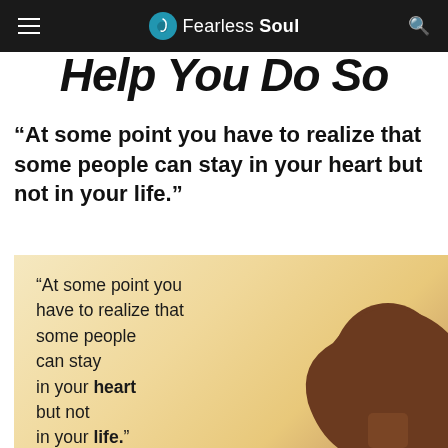Fearless Soul
Help You Do So
“At some point you have to realize that some people can stay in your heart but not in your life.”
[Figure (photo): Inspirational quote image with warm golden background and silhouette of a person with long hair. Text reads: “At some point you have to realize that some people can stay in your heart but not in your life.”]